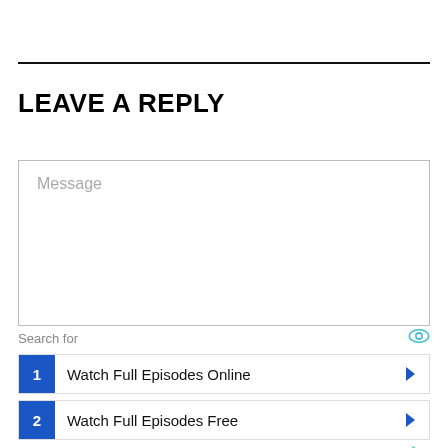LEAVE A REPLY
Message
Search for
1 Watch Full Episodes Online
2 Watch Full Episodes Free